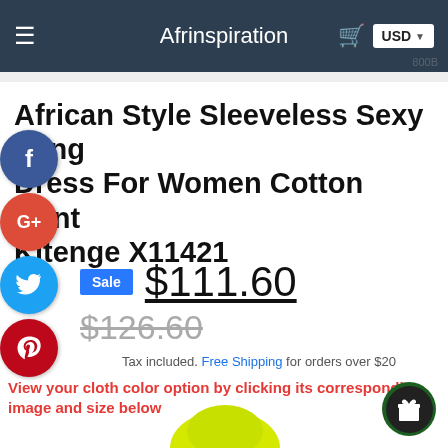Afrinspiration  USD
African Style Sleeveless Sexy Long Dress For Women Cotton Print Kitenge X11421
Sale $111.60
$126.60
Tax included. Free Shipping for orders over $20
View your cloth color option by clicking its corresponding image and size below